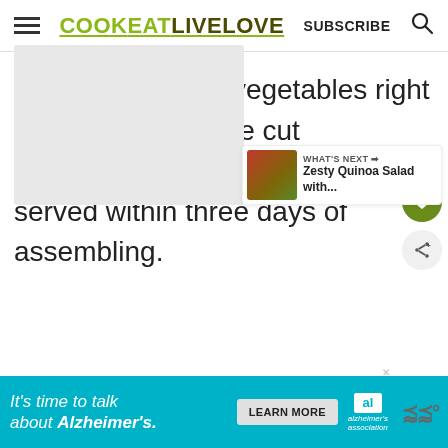COOK EAT LIVE LOVE — SUBSCRIBE
dressing with the vegetables right before serving. The cut vegetables will be freshest served within three days of assembling.
[Figure (other): What's Next card with food photo thumbnail: Zesty Quinoa Salad with...]
[Figure (other): Advertisement banner: It's time to talk about Alzheimer's. LEARN MORE. Alzheimer's association logo.]